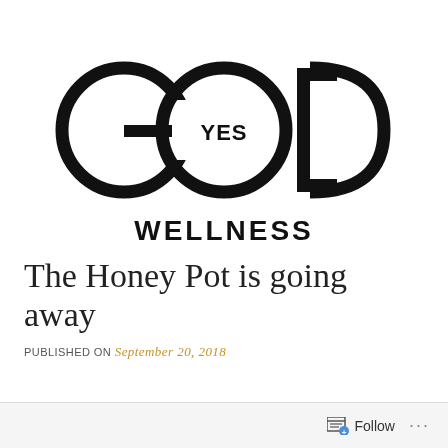[Figure (logo): GOD YES WELLNESS logo — large circular letterforms spelling GOD with YES inscribed in the O, and WELLNESS in bold black caps below]
The Honey Pot is going away
PUBLISHED ON September 20, 2018
Follow ...